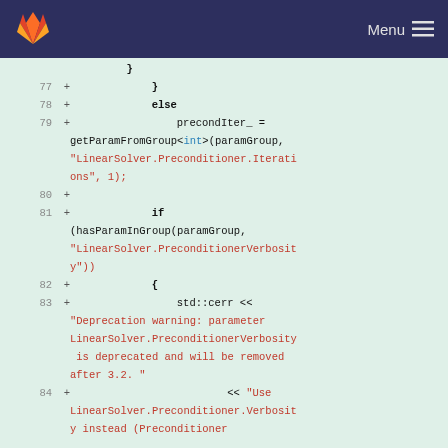[Figure (screenshot): GitLab navigation bar with logo and Menu button]
Code diff view showing C++ source lines 77-84 with added lines (+). Lines include closing brace, else branch, precondIter_ assignment with getParamFromGroup<int> call using LinearSolver.Preconditioner.Iterations string, if statement with hasParamInGroup check for LinearSolver.PreconditionerVerbosity, opening brace, std::cerr deprecation warning output for LinearSolver.PreconditionerVerbosity parameter, and Use LinearSolver.Preconditioner.Verbosity instead string.